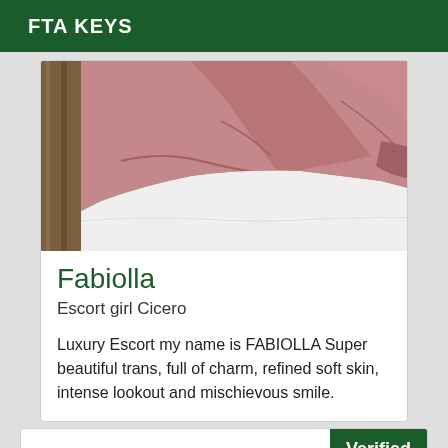FTA KEYS
[Figure (photo): Photo of a rose/dusty pink draped blanket or fabric on a white bed, with a wooden headboard visible on the left.]
Fabiolla
Escort girl Cicero
Luxury Escort my name is FABIOLLA Super beautiful trans, full of charm, refined soft skin, intense lookout and mischievous smile.
Verified